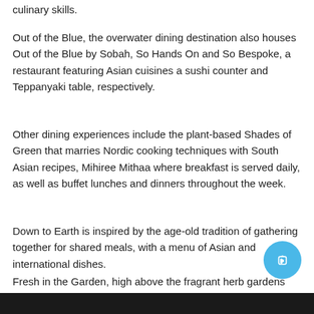culinary skills.
Out of the Blue, the overwater dining destination also houses Out of the Blue by Sobah, So Hands On and So Bespoke, a restaurant featuring Asian cuisines a sushi counter and Teppanyaki table, respectively.
Other dining experiences include the plant-based Shades of Green that marries Nordic cooking techniques with South Asian recipes, Mihiree Mithaa where breakfast is served daily, as well as buffet lunches and dinners throughout the week.
Down to Earth is inspired by the age-old tradition of gathering together for shared meals, with a menu of Asian and international dishes.
Fresh in the Garden, high above the fragrant herb gardens focuses on Mediterranean cuisine.
[Figure (photo): Dark image at the bottom of the page, appears to be a garden or outdoor scene]